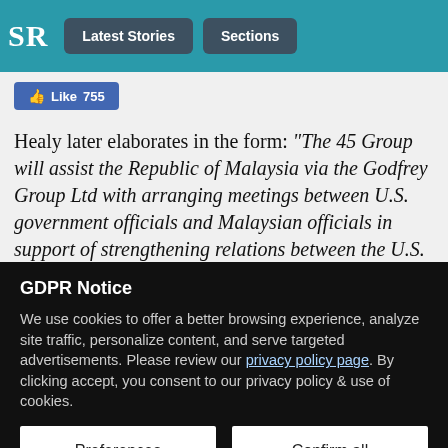SR | Latest Stories | Sections
[Figure (screenshot): Facebook Like button showing 755 likes]
Healy later elaborates in the form: “The 45 Group will assist the Republic of Malaysia via the Godfrey Group Ltd with arranging meetings between U.S. government officials and Malaysian officials in support of strengthening relations between the U.S.
GDPR Notice
We use cookies to offer a better browsing experience, analyze site traffic, personalize content, and serve targeted advertisements. Please review our privacy policy page. By clicking accept, you consent to our privacy policy & use of cookies.
Preferences | Confirm all